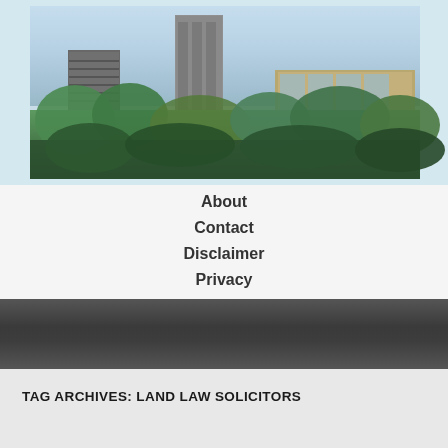[Figure (photo): Photograph of modern high-rise residential/commercial buildings with glass facades and green trees in the foreground]
About
Contact
Disclaimer
Privacy
[Figure (other): Dark gray textured banner/divider bar]
TAG ARCHIVES: LAND LAW SOLICITORS